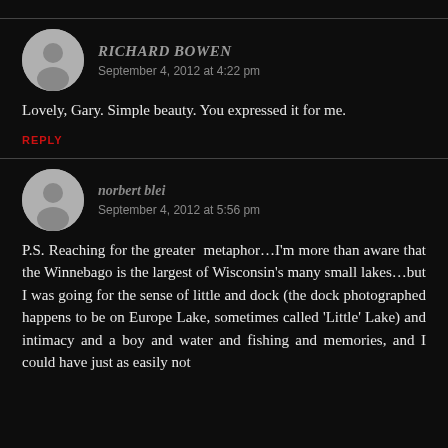[Figure (illustration): Gray avatar circle icon for Richard Bowen]
RICHARD BOWEN
September 4, 2012 at 4:22 pm
Lovely, Gary. Simple beauty. You expressed it for me.
REPLY
[Figure (illustration): Gray avatar circle icon for norbert blei]
norbert blei
September 4, 2012 at 5:56 pm
P.S. Reaching for the greater metaphor…I'm more than aware that the Winnebago is the largest of Wisconsin's many small lakes…but I was going for the sense of little and dock (the dock photographed happens to be on Europe Lake, sometimes called 'Little' Lake) and intimacy and a boy and water and fishing and memories, and I could have just as easily not